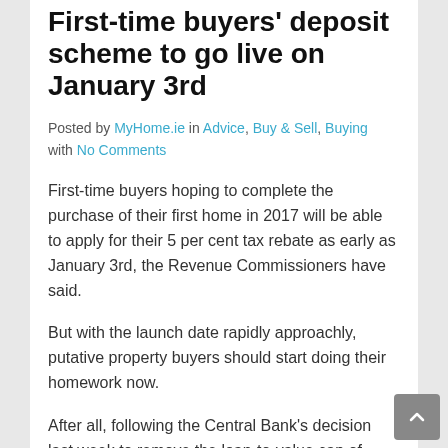First-time buyers' deposit scheme to go live on January 3rd
Posted by MyHome.ie in Advice, Buy & Sell, Buying with No Comments
First-time buyers hoping to complete the purchase of their first home in 2017 will be able to apply for their 5 per cent tax rebate as early as January 3rd, the Revenue Commissioners have said.
But with the launch date rapidly approachly, putative property buyers should start doing their homework now.
After all, following the Central Bank's decision last week to remove the loan-to-value cap of €220,000, and allow all first-time buyers to purchase a property with a deposit of 10 per cent, the